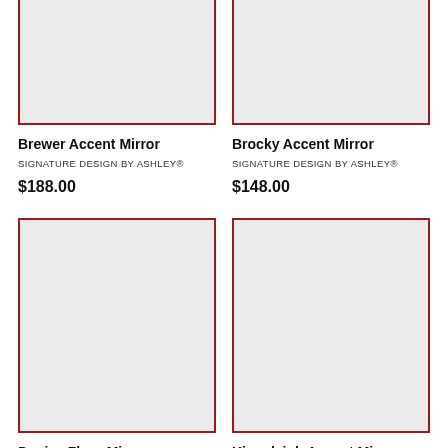[Figure (photo): Product image placeholder for Brewer Accent Mirror — light gray rectangle with dark red border]
Brewer Accent Mirror
SIGNATURE DESIGN BY ASHLEY®
$188.00
[Figure (photo): Product image placeholder for Brocky Accent Mirror — light gray rectangle with dark red border]
Brocky Accent Mirror
SIGNATURE DESIGN BY ASHLEY®
$148.00
[Figure (photo): Product image placeholder for Denice Floor Mirror — light gray rectangle with dark red border]
Denice Floor Mirror
[Figure (photo): Product image placeholder for Kingsleigh Accent Mirror — light gray rectangle with dark red border]
Kingsleigh Accent Mirror